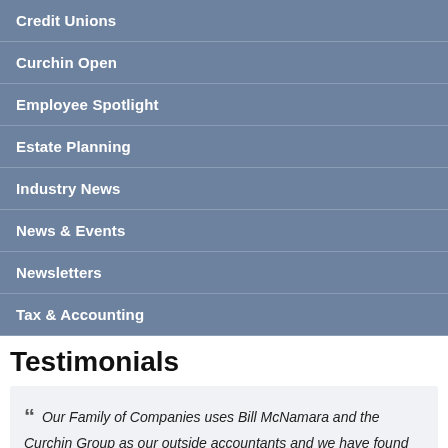Credit Unions
Curchin Open
Employee Spotlight
Estate Planning
Industry News
News & Events
Newsletters
Tax & Accounting
Testimonials
“ Our Family of Companies uses Bill McNamara and the Curchin Group as our outside accountants and we have found them to be